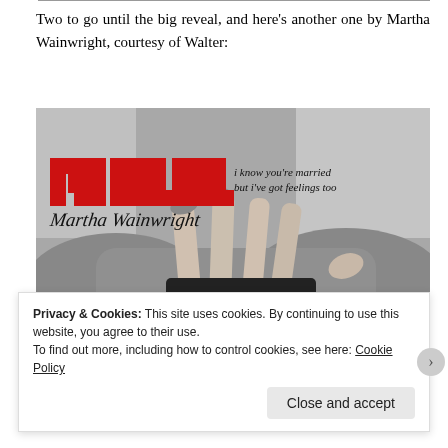Two to go until the big reveal, and here’s another one by Martha Wainwright, courtesy of Walter:
[Figure (photo): Album cover for Martha Wainwright's single 'I Know You're Married But I've Got Feelings Too'. Shows the red 'mww' logo in the upper left, with text 'i know you’re married but i’ve got feelings too' and cursive 'Martha Wainwright' script. Black and white photo of legs on a sofa in the lower portion.]
Privacy & Cookies: This site uses cookies. By continuing to use this website, you agree to their use.
To find out more, including how to control cookies, see here: Cookie Policy
Close and accept